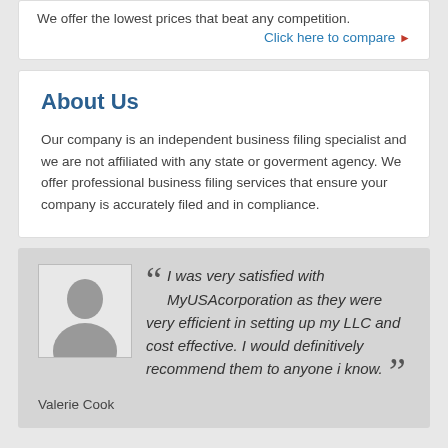We offer the lowest prices that beat any competition.
Click here to compare ▶
About Us
Our company is an independent business filing specialist and we are not affiliated with any state or goverment agency. We offer professional business filing services that ensure your company is accurately filed and in compliance.
[Figure (photo): Silhouette avatar of a person (female) used as a testimonial profile picture]
““ I was very satisfied with MyUSAcorporation as they were very efficient in setting up my LLC and cost effective. I would definitively recommend them to anyone i know. ””
Valerie Cook